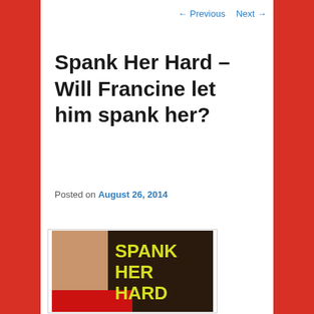← Previous   Next →
Spank Her Hard – Will Francine let him spank her?
Posted on August 26, 2014
[Figure (illustration): Book cover showing 'SPANK HER HARD' text in yellow on dark background with partial figure in red]